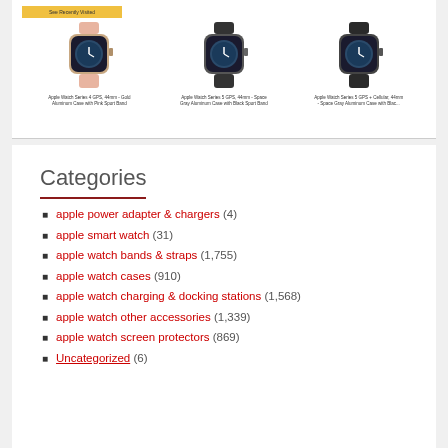[Figure (screenshot): Product listing showing three Apple Watch models: Apple Watch Series 4 GPS 44mm Gold Aluminum with Pink Sport Band, Apple Watch Series 5 GPS 44mm Space Gray Aluminum with Black Sport Band, Apple Watch Series 5 GPS + Cellular 44mm Space Gray Aluminum with Black Sport Band. A yellow 'See Recently Visited' banner is shown above the watches.]
Categories
apple power adapter & chargers (4)
apple smart watch (31)
apple watch bands & straps (1,755)
apple watch cases (910)
apple watch charging & docking stations (1,568)
apple watch other accessories (1,339)
apple watch screen protectors (869)
Uncategorized (6)